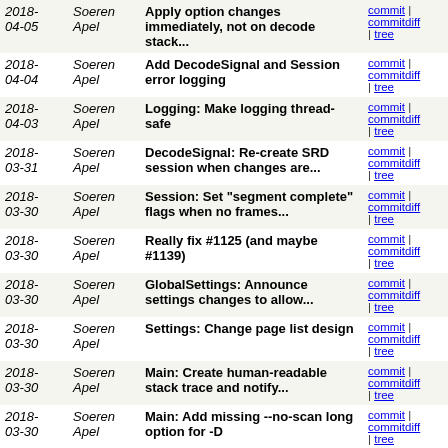| Date | Author | Message | Links |
| --- | --- | --- | --- |
| 2018-04-05 | Soeren Apel | Apply option changes immediately, not on decode stack... | commit | commitdiff | tree |
| 2018-04-04 | Soeren Apel | Add DecodeSignal and Session error logging | commit | commitdiff | tree |
| 2018-04-03 | Soeren Apel | Logging: Make logging thread-safe | commit | commitdiff | tree |
| 2018-03-31 | Soeren Apel | DecodeSignal: Re-create SRD session when changes are... | commit | commitdiff | tree |
| 2018-03-30 | Soeren Apel | Session: Set "segment complete" flags when no frames... | commit | commitdiff | tree |
| 2018-03-30 | Soeren Apel | Really fix #1125 (and maybe #1139) | commit | commitdiff | tree |
| 2018-03-30 | Soeren Apel | GlobalSettings: Announce settings changes to allow... | commit | commitdiff | tree |
| 2018-03-30 | Soeren Apel | Settings: Change page list design | commit | commitdiff | tree |
| 2018-03-30 | Soeren Apel | Main: Create human-readable stack trace and notify... | commit | commitdiff | tree |
| 2018-03-30 | Soeren Apel | Main: Add missing --no-scan long option for -D | commit | commitdiff | tree |
| 2018-03-30 | Soeren Apel | Main: Add -s option to allow logging to console as... | commit | commitdiff | tree |
| 2018-03-30 | Soeren Apel | SignalHandler: Rename include guard | commit | commitdiff | tree |
| 2018-03-30 | Soeren Apel | Add logging mechanism | commit | commitdiff | tree |